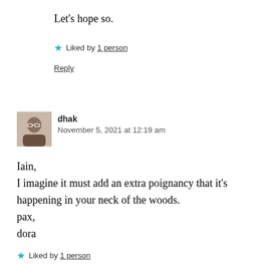Let's hope so.
★ Liked by 1 person
Reply
dhak
November 5, 2021 at 12:19 am
Iain,
I imagine it must add an extra poignancy that it's happening in your neck of the woods.
pax,
dora
★ Liked by 1 person